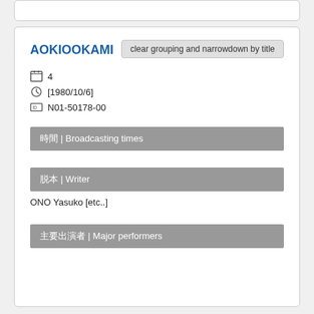AOKIOOKAMI
clear grouping and narrowdown by title
4
[1980/10/6]
N01-50178-00
放送時間 | Broadcasting times
脚本 | Writer
ONO Yasuko [etc..]
主要出演者 | Major performers